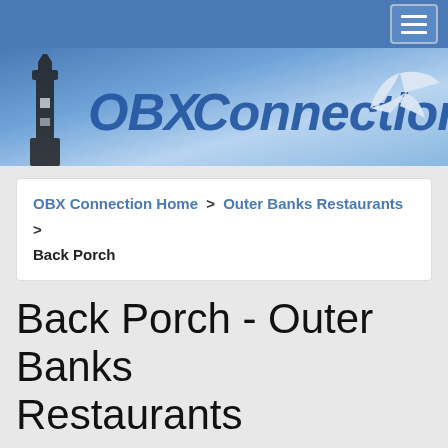[Figure (screenshot): OBX Connection website header banner with lighthouse silhouette on left, seagull on right, and 'OBX Connection' text in italic bold blue]
OBX Connection Home > Outer Banks Restaurants > Back Porch
Back Porch - Outer Banks Restaurants
Back Porch Contact Information & Reviews
Back Porch
Rating: ★★★★☆